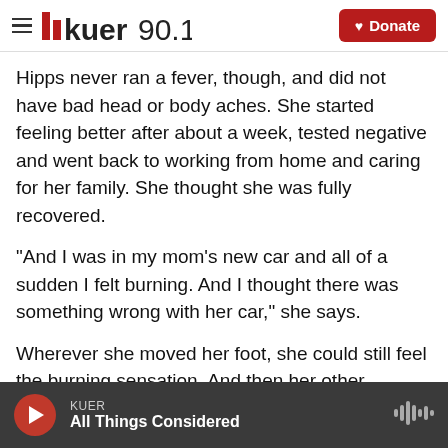KUER 90.1 — Donate
Hipps never ran a fever, though, and did not have bad head or body aches. She started feeling better after about a week, tested negative and went back to working from home and caring for her family. She thought she was fully recovered.
"And I was in my mom's new car and all of a sudden I felt burning. And I thought there was something wrong with her car," she says.
Wherever she moved her foot, she could still feel the burning sensation. And then her other
KUER — All Things Considered